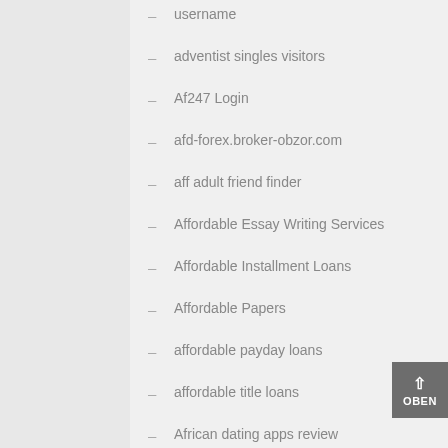username
adventist singles visitors
Af247 Login
afd-forex.broker-obzor.com
aff adult friend finder
Affordable Essay Writing Services
Affordable Installment Loans
Affordable Papers
affordable payday loans
affordable title loans
African dating apps review
African Women For